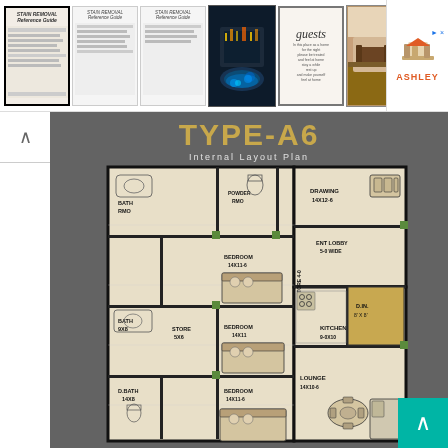[Figure (screenshot): Top bar with 6 image thumbnails: three Stain Removal Reference Guide posters (text/illustration style), one nighttime rooftop pool photo, one 'guests' calligraphy print, one dining room photo. Plus an Ashley furniture advertisement on the right.]
TYPE-A6
Internal Layout Plan
[Figure (engineering-diagram): Floor plan of apartment TYPE-A6 showing: BATH RMO, POWDER RMO, DRAWING 14X12-6, BEDROOM 14X11-6, ENT LOBBY 5-0 WIDE, STORE 4-0, D.IN., BEDROOM 14X11, KITCHEN 9-0X10, BATH 9X8, STORE 5X6, D.BATH 14X8, BEDROOM 14X11-6, LOUNGE 14X10-6. Layout on beige/tan background with thick black walls, green accent squares, and furniture illustrations.]